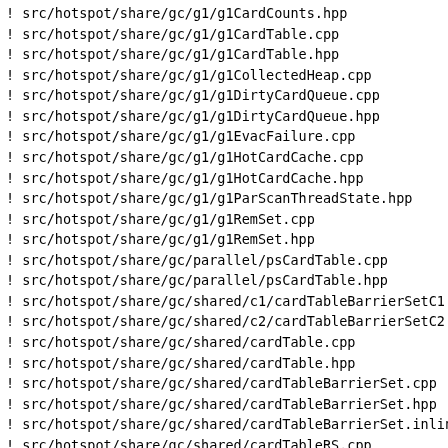! src/hotspot/share/gc/g1/g1CardCounts.hpp
! src/hotspot/share/gc/g1/g1CardTable.cpp
! src/hotspot/share/gc/g1/g1CardTable.hpp
! src/hotspot/share/gc/g1/g1CollectedHeap.cpp
! src/hotspot/share/gc/g1/g1DirtyCardQueue.cpp
! src/hotspot/share/gc/g1/g1DirtyCardQueue.hpp
! src/hotspot/share/gc/g1/g1EvacFailure.cpp
! src/hotspot/share/gc/g1/g1HotCardCache.cpp
! src/hotspot/share/gc/g1/g1HotCardCache.hpp
! src/hotspot/share/gc/g1/g1ParScanThreadState.hpp
! src/hotspot/share/gc/g1/g1RemSet.cpp
! src/hotspot/share/gc/g1/g1RemSet.hpp
! src/hotspot/share/gc/parallel/psCardTable.cpp
! src/hotspot/share/gc/parallel/psCardTable.hpp
! src/hotspot/share/gc/shared/c1/cardTableBarrierSetC1.cp
! src/hotspot/share/gc/shared/c2/cardTableBarrierSetC2.cp
! src/hotspot/share/gc/shared/cardTable.cpp
! src/hotspot/share/gc/shared/cardTable.hpp
! src/hotspot/share/gc/shared/cardTableBarrierSet.cpp
! src/hotspot/share/gc/shared/cardTableBarrierSet.hpp
! src/hotspot/share/gc/shared/cardTableBarrierSet.inline
! src/hotspot/share/gc/shared/cardTableRS.cpp
! src/hotspot/share/gc/shared/cardTableRS.hpp
! src/hotspot/share/gc/shared/vmStructs_gc.hpp
! src/hotspot/share/jvmci/jvmciCompilerToVM.hpp
! src/hotspot/share/jvmci/jvmciCompilerToVMInit.cpp
Changeset: e8de5d46ecd4
Author:    tschatzl
Date:      2019-03-13 21:01 +0100
URL:       http://hg.openjdk.java.net/valhalla/valhalla/